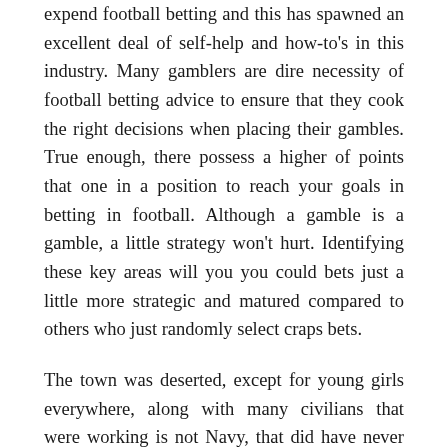expend football betting and this has spawned an excellent deal of self-help and how-to's in this industry. Many gamblers are dire necessity of football betting advice to ensure that they cook the right decisions when placing their gambles. True enough, there possess a higher of points that one in a position to reach your goals in betting in football. Although a gamble is a gamble, a little strategy won't hurt. Identifying these key areas will you you could bets just a little more strategic and matured compared to others who just randomly select craps bets.
The town was deserted, except for young girls everywhere, along with many civilians that were working is not Navy, that did have never to adhere to the military legislation. I was aware everyone had to become back on base, except for until had been officially notified by people. I was just ufa369 enjoying having body weight . town to myself. I could walk in the bar, generally there would be no